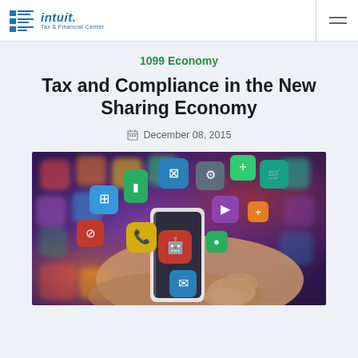Intuit Tax & Financial Center
1099 Economy
Tax and Compliance in the New Sharing Economy
December 08, 2015
[Figure (photo): Hand holding a smartphone with colorful app icons floating out of it against a blurred background of app icons.]